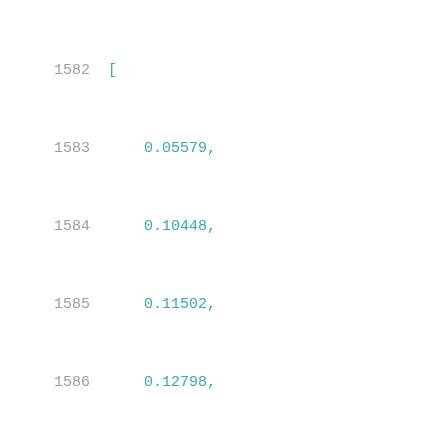1582    [
1583        0.05579,
1584        0.10448,
1585        0.11502,
1586        0.12798,
1587        0.14411,
1588        0.16412,
1589        0.18905,
1590        0.22006,
1591        0.25896,
1592        0.3075,
1593        0.36814,
1594        0.44391,
1595        0.53879,
1596        0.65721,
1597        0.80545,
1598        0.99
1599    ],
1600    [
1601        0.05568,
1602        0.10436,